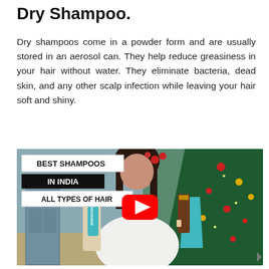Dry Shampoo.
Dry shampoos come in a powder form and are usually stored in an aerosol can. They help reduce greasiness in your hair without water. They eliminate bacteria, dead skin, and any other scalp infection while leaving your hair soft and shiny.
[Figure (screenshot): YouTube video thumbnail showing a woman holding shampoo bottles including a Moroccanoil product, with text overlays reading 'BEST SHAMPOOS IN INDIA ALL TYPES OF HAIR' on black and white backgrounds, a Christmas tree in the background, and a red YouTube play button in the center.]